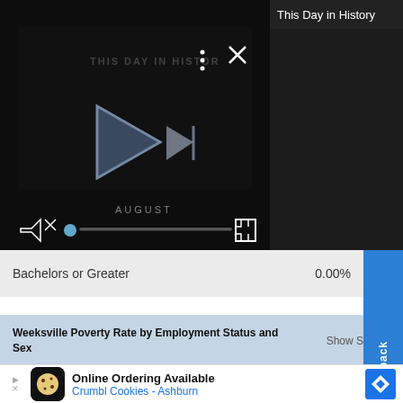[Figure (screenshot): Video player showing 'This Day in History' content with play button, progress bar, mute icon, and fullscreen controls on dark background]
This Day in History
|  |  |
| --- | --- |
| Bachelors or Greater | 0.00% |
Weeksville Poverty Rate by Employment Status and Sex
Show Source
[Figure (bar-chart): Partial chart showing Weeksville Poverty Rate by Employment Status and Sex, with 'Employed' label visible]
[Figure (screenshot): Advertisement banner: Online Ordering Available - Crumbl Cookies - Ashburn]